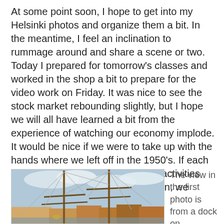At some point soon, I hope to get into my Helsinki photos and organize them a bit. In the meantime, I feel an inclination to rummage around and share a scene or two. Today I prepared for tomorrow's classes and worked in the shop a bit to prepare for the video work on Friday. It was nice to see the stock market rebounding slightly, but I hope we will all have learned a bit from the experience of watching our economy implode. It would be nice if we were to take up with the hands where we left off in the 1950's. If each home in America were full of craft activities instead of or in addition to television, we would be smarter and happier.
[Figure (photo): Photo of tall ship masts at a harbor dock in Helsinki, with rigging ropes visible against a partly cloudy sky. Buildings visible in the background.]
The view in the first photo is from a dock on Pohjoisranta south across the harbor towards the island of Katajanokka